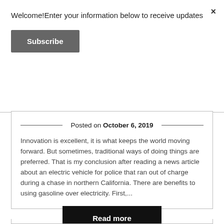Welcome!Enter your information below to receive updates
×
Subscribe
Posted on October 6, 2019
Innovation is excellent, it is what keeps the world moving forward. But sometimes, traditional ways of doing things are preferred. That is my conclusion after reading a news article about an electric vehicle for police that ran out of charge during a chase in northern California. There are benefits to using gasoline over electricity. First,...
Read more